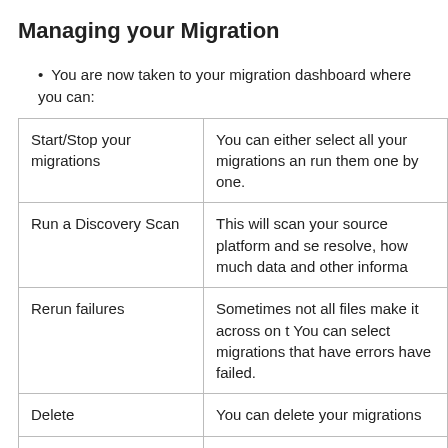Managing your Migration
You are now taken to your migration dashboard where you can:
| Start/Stop your migrations | You can either select all your migrations and run them one by one. |
| Run a Discovery Scan | This will scan your source platform and se... resolve, how much data and other informa... |
| Rerun failures | Sometimes not all files make it across on t... You can select migrations that have errors... have failed. |
| Delete | You can delete your migrations |
| Copy and Edit (Clone) | If you hover over a migration and click the... can clone the migration to then edit the so... |